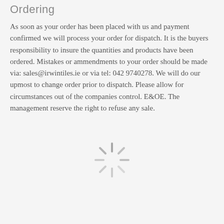Ordering
As soon as your order has been placed with us and payment confirmed we will process your order for dispatch. It is the buyers responsibility to insure the quantities and products have been ordered. Mistakes or ammendments to your order should be made via: sales@irwintiles.ie or via tel: 042 9740278. We will do our upmost to change order prior to dispatch. Please allow for circumstances out of the companies control. E&OE. The management reserve the right to refuse any sale.
RETURNS
Returns & Replacements